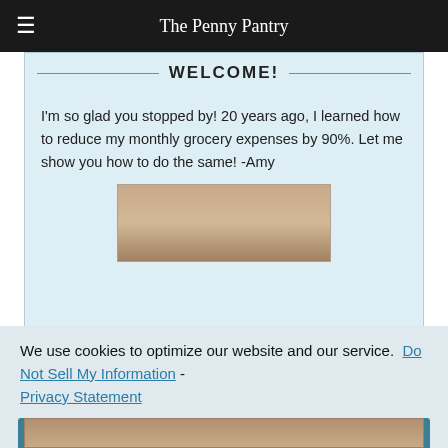The Penny Pantry
WELCOME!
I'm so glad you stopped by!  20 years ago, I learned how to reduce my monthly grocery expenses by 90%.  Let me show you how to do the same!   -Amy
[Figure (photo): Partial photo of a person, cropped at top]
We use cookies to optimize our website and our service.  Do Not Sell My Information  -  Privacy Statement
[Figure (photo): Partial photo of a person at bottom of page]